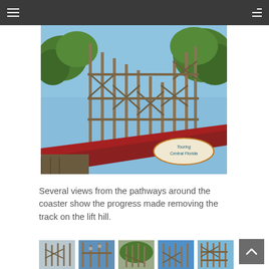Navigation bar with hamburger menu and list icon
[Figure (photo): Wooden roller coaster lift hill structure with track removed, showing bare wooden scaffolding against a blue sky with trees. A watermark reads 'Touring Central Florida' in the lower right corner.]
Several views from the pathways around the coaster show the progress made removing the track on the lift hill.
[Figure (photo): Thumbnail 1: Roller coaster wooden structure close-up]
[Figure (photo): Thumbnail 2: Roller coaster structure with pipes/beams]
[Figure (photo): Thumbnail 3: Wooden coaster structure dense view]
[Figure (photo): Thumbnail 4: Coaster structure against blue sky]
[Figure (photo): Thumbnail 5: Coaster wooden lattice structure]